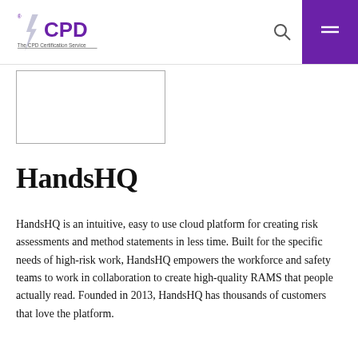CPD The CPD Certification Service
[Figure (other): Rectangular image placeholder box]
HandsHQ
HandsHQ is an intuitive, easy to use cloud platform for creating risk assessments and method statements in less time. Built for the specific needs of high-risk work, HandsHQ empowers the workforce and safety teams to work in collaboration to create high-quality RAMS that people actually read. Founded in 2013, HandsHQ has thousands of customers that love the platform.